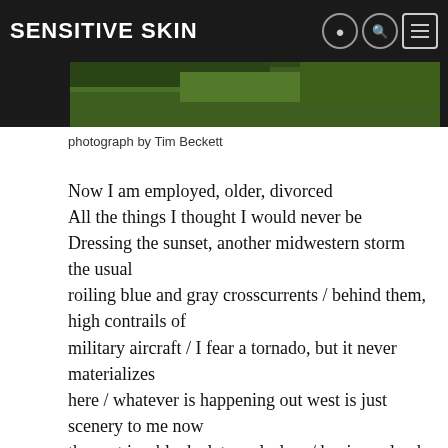Sensitive Skin
[Figure (photo): Green grass/field photograph by Tim Beckett, shown as a horizontal strip]
photograph by Tim Beckett
Now I am employed, older, divorced
All the things I thought I would never be
Dressing the sunset, another midwestern storm the usual
roiling blue and gray crosscurrents / behind them, high contrails of
military aircraft / I fear a tornado, but it never materializes
here / whatever is happening out west is just scenery to me now
the east is a blank slate, colorless / having solved all problems,
I get in my car